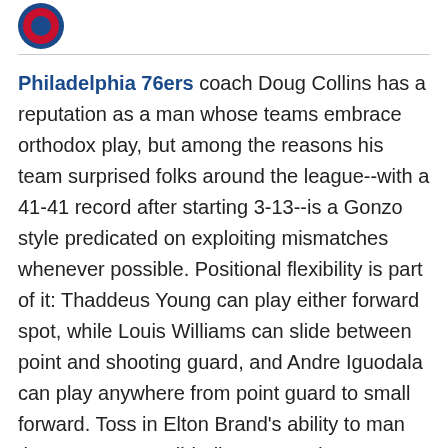[Figure (logo): Philadelphia 76ers logo (partial, top-left corner)]
Philadelphia 76ers coach Doug Collins has a reputation as a man whose teams embrace orthodox play, but among the reasons his team surprised folks around the league--with a 41-41 record after starting 3-13--is a Gonzo style predicated on exploiting mismatches whenever possible. Positional flexibility is part of it: Thaddeus Young can play either forward spot, while Louis Williams can slide between point and shooting guard, and Andre Iguodala can play anywhere from point guard to small forward. Toss in Elton Brand's ability to man the post as a small-ball center and you can see why the Sixers excelled, relative to expectation, this season.